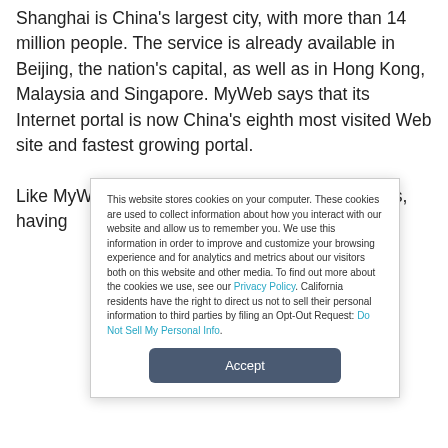Shanghai is China's largest city, with more than 14 million people. The service is already available in Beijing, the nation's capital, as well as in Hong Kong, Malaysia and Singapore. MyWeb says that its Internet portal is now China's eighth most visited Web site and fastest growing portal.

Like MyWeb, TVSN has roots in the United States, having
This website stores cookies on your computer. These cookies are used to collect information about how you interact with our website and allow us to remember you. We use this information in order to improve and customize your browsing experience and for analytics and metrics about our visitors both on this website and other media. To find out more about the cookies we use, see our Privacy Policy. California residents have the right to direct us not to sell their personal information to third parties by filing an Opt-Out Request: Do Not Sell My Personal Info.
Accept